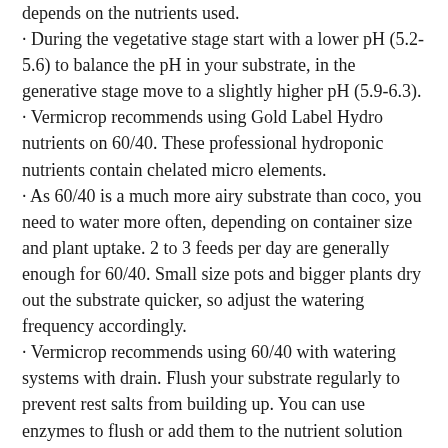depends on the nutrients used.
· During the vegetative stage start with a lower pH (5.2-5.6) to balance the pH in your substrate, in the generative stage move to a slightly higher pH (5.9-6.3).
· Vermicrop recommends using Gold Label Hydro nutrients on 60/40. These professional hydroponic nutrients contain chelated micro elements.
· As 60/40 is a much more airy substrate than coco, you need to water more often, depending on container size and plant uptake. 2 to 3 feeds per day are generally enough for 60/40. Small size pots and bigger plants dry out the substrate quicker, so adjust the watering frequency accordingly.
· Vermicrop recommends using 60/40 with watering systems with drain. Flush your substrate regularly to prevent rest salts from building up. You can use enzymes to flush or add them to the nutrient solution throughout the grow cycle.
· In a recirculating or waste to drain system, use 30% drain.
· If you recirculate your nutrients, make sure that pH and EC levels stay within range. Keep your grow area clean to